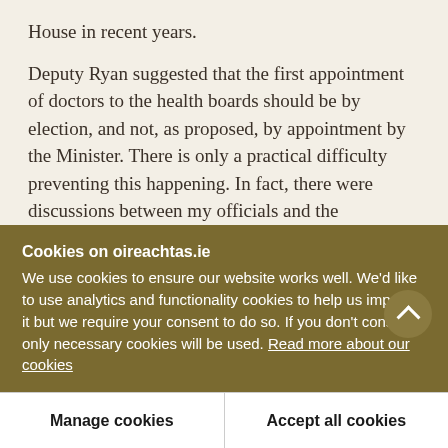House in recent years.
Deputy Ryan suggested that the first appointment of doctors to the health boards should be by election, and not, as proposed, by appointment by the Minister. There is only a practical difficulty preventing this happening. In fact, there were discussions between my officials and the representatives of the doctors on this very point and they agreed with the procedure proposed in the Bill simply because the health boards will not be in existence at the
Cookies on oireachtas.ie
We use cookies to ensure our website works well. We'd like to use analytics and functionality cookies to help us improve it but we require your consent to do so. If you don't consent, only necessary cookies will be used. Read more about our cookies
Manage cookies
Accept all cookies